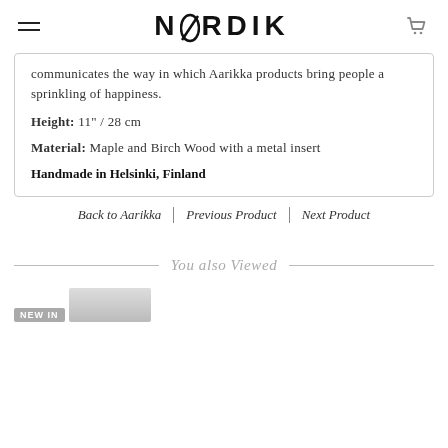NORDIK
communicates the way in which Aarikka products bring people a sprinkling of happiness.
Height: 11" / 28 cm
Material: Maple and Birch Wood with a metal insert
Handmade in Helsinki, Finland
Back to Aarikka | Previous Product | Next Product
You also Viewed
NEW IN